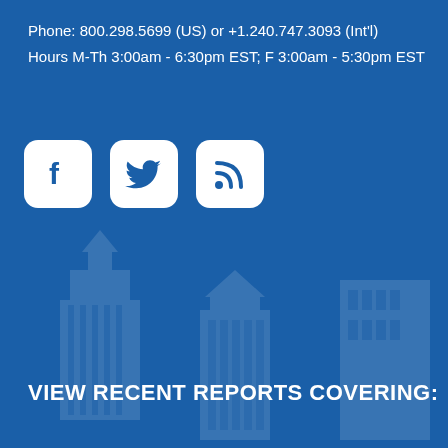Phone: 800.298.5699 (US) or +1.240.747.3093 (Int'l)
Hours M-Th 3:00am - 6:30pm EST; F 3:00am - 5:30pm EST
[Figure (illustration): Three social media icon buttons: Facebook, Twitter, RSS feed — white rounded-square icons on blue background]
VIEW RECENT REPORTS COVERING:
Industry analysis for sale
By using this website, you agree that we can store cookies on your device.

We use cookies to improve the user experience, personalize your visit, and compile aggregate statistics.

More information can be found in our Privacy Policy .
Accept
Decline